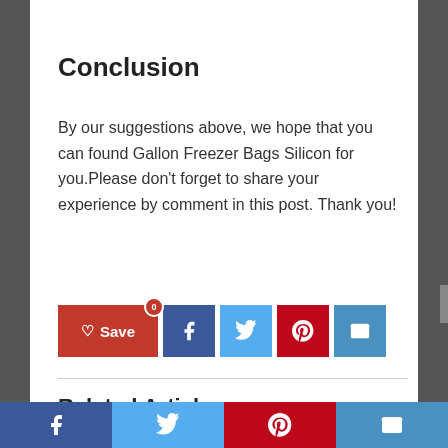Conclusion
By our suggestions above, we hope that you can found Gallon Freezer Bags Silicon for you.Please don’t forget to share your experience by comment in this post. Thank you!
[Figure (infographic): Social share bar with Save (heart), Facebook, Twitter, Pinterest, and Email buttons]
Related Articles
[Figure (infographic): Bottom social share bar with Facebook, Twitter, Pinterest, and Email buttons]